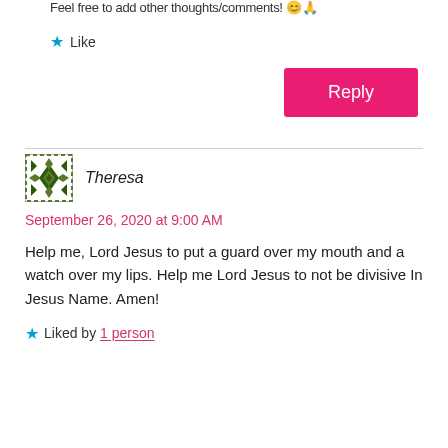Feel free to add other thoughts/comments! 😊🙏
★ Like
Reply
Theresa
September 26, 2020 at 9:00 AM
Help me, Lord Jesus to put a guard over my mouth and a watch over my lips. Help me Lord Jesus to not be divisive In Jesus Name. Amen!
★ Liked by 1 person